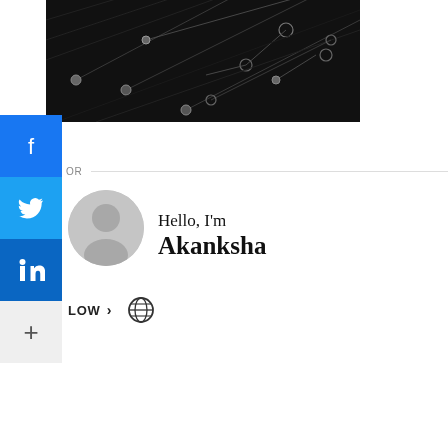[Figure (photo): Dark technology background with diagonal circuit-like lines and nodes on a black background]
OR
[Figure (photo): Grey avatar/profile silhouette circle]
Hello, I'm
Akanksha
LOW >